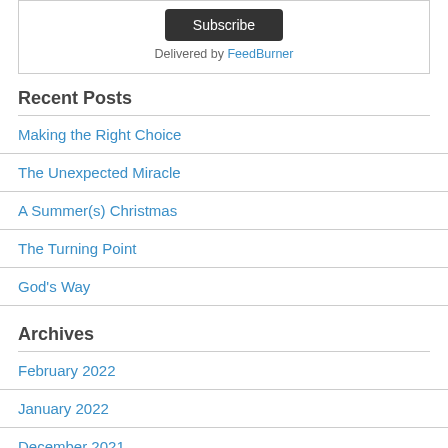Subscribe
Delivered by FeedBurner
Recent Posts
Making the Right Choice
The Unexpected Miracle
A Summer(s) Christmas
The Turning Point
God's Way
Archives
February 2022
January 2022
December 2021